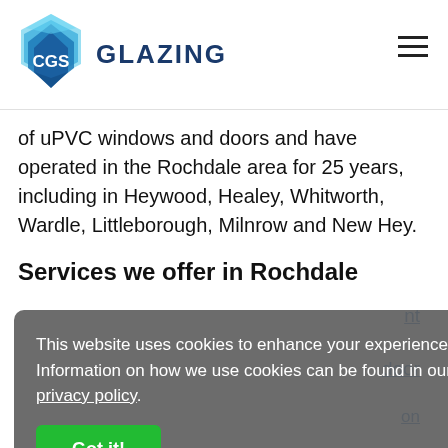[Figure (logo): CGS Glazing logo with blue geometric crystal/diamond shape icon and 'CGS GLAZING' text in dark navy]
of uPVC windows and doors and have operated in the Rochdale area for 25 years, including in Heywood, Healey, Whitworth, Wardle, Littleborough, Milnrow and New Hey.
Services we offer in Rochdale
This website uses cookies to enhance your experience. Information on how we use cookies can be found in our privacy policy.
Got it!